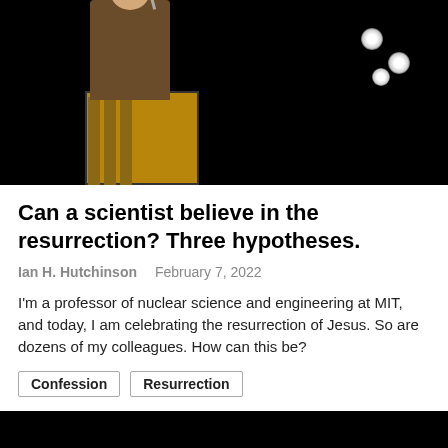[Figure (photo): A man in a brown jacket speaking at a podium on a dark stage with stage lights visible in the background.]
Can a scientist believe in the resurrection? Three hypotheses.
Ian H. Hutchinson   February 7, 2022
I'm a professor of nuclear science and engineering at MIT, and today, I am celebrating the resurrection of Jesus. So are dozens of my colleagues. How can this be?
Confession
Resurrection